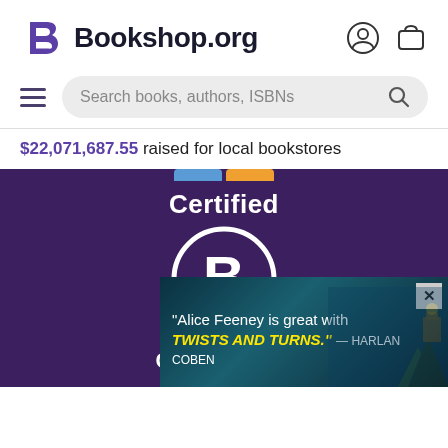Bookshop.org
$22,071,687.55 raised for local bookstores
[Figure (logo): Certified B Corporation logo on dark purple background with white circle B mark and horizontal line, text reads Certified Corporation]
[Figure (screenshot): Advertisement banner with dark teal background, text: "Alice Feeney is great with TWISTS AND TURNS." — HARLAN COBEN, with close button]